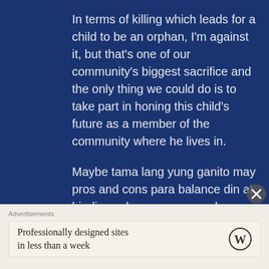In terms of killing which leads for a child to be an orphan, I'm against it, but that's one of our community's biggest sacrifice and the only thing we could do is to take part in honing this child's future as a member of the community where he lives in.
Maybe tama lang yung ganito may pros and cons para balance din at hindi susobra, pero meron lang tlagang mga OA mag comment na akala mo sobrang lala na ng patayan, as of now, namumuhay pa
Advertisements
Professionally designed sites in less than a week